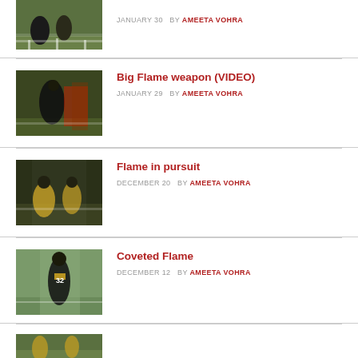[Figure (photo): Football players on field, partially visible at top]
JANUARY 30  BY AMEETA VOHRA
[Figure (photo): Football player in black and yellow uniform]
Big Flame weapon (VIDEO)
JANUARY 29  BY AMEETA VOHRA
[Figure (photo): Football players on field at night game]
Flame in pursuit
DECEMBER 20  BY AMEETA VOHRA
[Figure (photo): Football player wearing number 32 jersey in black and yellow uniform]
Coveted Flame
DECEMBER 12  BY AMEETA VOHRA
[Figure (photo): Partial football photo at bottom of page]